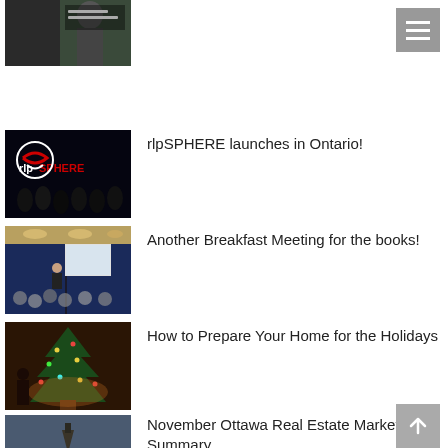[Figure (photo): Partial thumbnail of a man speaking, partially cropped at top of page]
[Figure (photo): rlpSPHERE logo on dark background with audience]
rlpSPHERE launches in Ontario!
[Figure (photo): Conference room with people seated and a presenter at a podium with a screen]
Another Breakfast Meeting for the books!
[Figure (photo): Woman standing near a lit Christmas tree in warm lighting]
How to Prepare Your Home for the Holidays
[Figure (photo): Ottawa cityscape at dusk with Parliament buildings]
November Ottawa Real Estate Market Summary